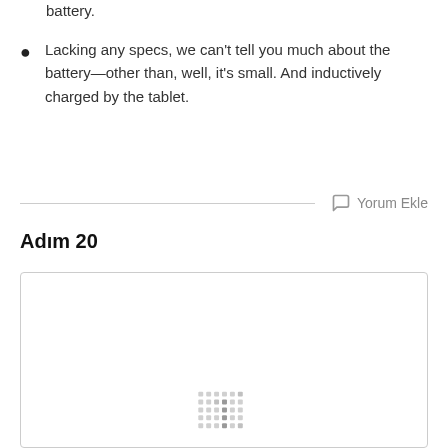battery.
Lacking any specs, we can't tell you much about the battery—other than, well, it's small. And inductively charged by the tablet.
Yorum Ekle
Adım 20
[Figure (photo): A partially loaded image box with a dotted loading indicator in the center-bottom area.]